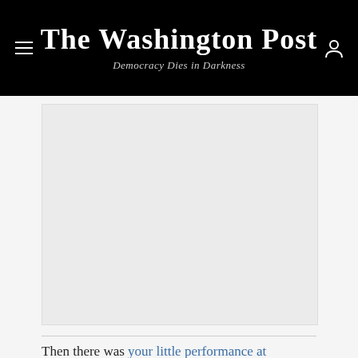The Washington Post — Democracy Dies in Darkness
[Figure (photo): Large image placeholder area with light gray background, partially visible article image]
Then there was your little performance at Georgetown